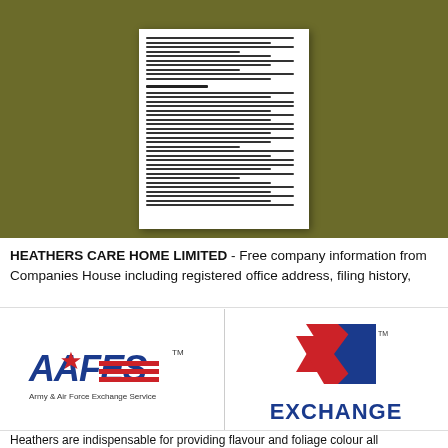[Figure (screenshot): A screenshot of a document page shown against an olive/dark green background. The document appears to be an academic paper with text lines, an Introduction section header, and body paragraphs.]
HEATHERS CARE HOME LIMITED - Free company information from Companies House including registered office address, filing history,
[Figure (logo): AAFES logo - Army & Air Force Exchange Service with star and stripes emblem]
[Figure (logo): EXCHANGE logo with red and blue X mark and EXCHANGE text]
Heathers are indispensable for providing flavour and foliage colour all